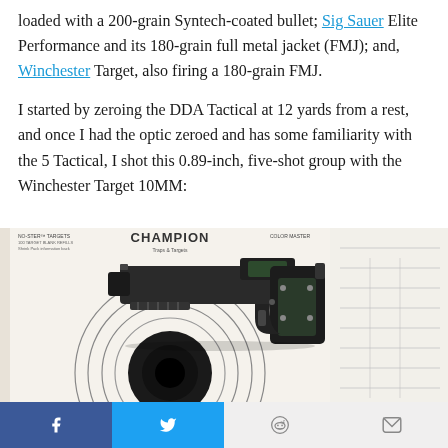loaded with a 200-grain Syntech-coated bullet; Sig Sauer Elite Performance and its 180-grain full metal jacket (FMJ); and, Winchester Target, also firing a 180-grain FMJ.

I started by zeroing the DDA Tactical at 12 yards from a rest, and once I had the optic zeroed and has some familiarity with the 5 Tactical, I shot this 0.89-inch, five-shot group with the Winchester Target 10MM:
[Figure (photo): A black semi-automatic pistol (DDA Tactical 5) resting on a Champion shooting target with a large black bullseye circle. The gun has a red dot optic mounted on it. The target shows score markings.]